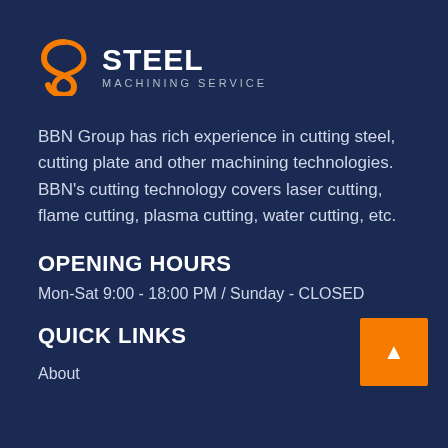[Figure (logo): Steel Machining Service logo with orange S-shaped icon on the left and white bold text 'STEEL' with subtitle 'MACHINING SERVICE' on the right]
BBN Group has rich experience in cutting steel, cutting plate and other machining technologies. BBN's cutting technology covers laser cutting, flame cutting, plasma cutting, water cutting, etc.
OPENING HOURS
Mon-Sat 9:00 - 18:00 PM / Sunday - CLOSED
QUICK LINKS
About